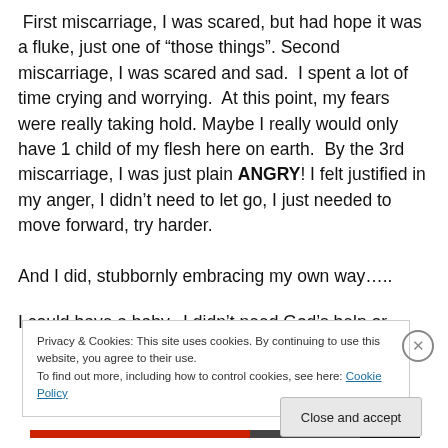First miscarriage, I was scared, but had hope it was a fluke, just one of “those things”. Second miscarriage, I was scared and sad.  I spent a lot of time crying and worrying.  At this point, my fears were really taking hold.  Maybe I really would only have 1 child of my flesh here on earth.  By the 3rd miscarriage, I was just plain ANGRY! I felt justified in my anger, I didn’t need to let go, I just needed to move forward, try harder.

And I did, stubbornly embracing my own way…..

I could have a baby.  I didn’t need God’s help or
Privacy & Cookies: This site uses cookies. By continuing to use this website, you agree to their use.
To find out more, including how to control cookies, see here: Cookie Policy
Close and accept